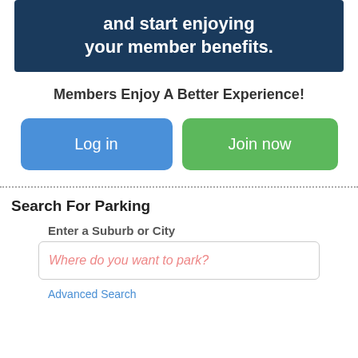[Figure (other): Dark navy blue banner with white bold text: 'and start enjoying your member benefits.']
Members Enjoy A Better Experience!
[Figure (other): Two buttons side by side: blue 'Log in' button and green 'Join now' button]
Search For Parking
Enter a Suburb or City
[Figure (other): Search input box with pink placeholder text: 'Where do you want to park?']
Advanced Search
[Figure (other): Green 'Search' button]
Featured Listing